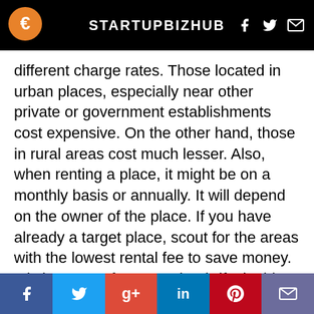STARTUPBIZHUB
different charge rates. Those located in urban places, especially near other private or government establishments cost expensive. On the other hand, those in rural areas cost much lesser. Also, when renting a place, it might be on a monthly basis or annually. It will depend on the owner of the place. If you have already a target place, scout for the areas with the lowest rental fee to save money. It is important for you to be thrifty in this situation because you have other things you have to think about, not only the rental fee of your future business establishment. Make sure that in selecting a place you have to consider its accessibility [to your] customers.